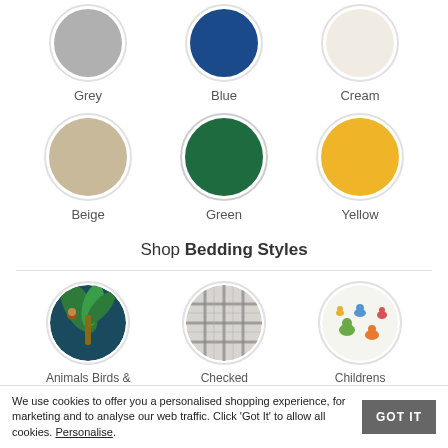[Figure (infographic): Color swatches row 1: Grey (gray circle), Blue (dark blue circle), Cream (off-white circle)]
[Figure (infographic): Color swatches row 2: Beige (tan circle), Green (dark green circle), Yellow (golden yellow circle)]
Shop Bedding Styles
[Figure (infographic): Style swatches: Animals Birds & (jungle pattern circle), Checked (grey plaid circle), Childrens (dinosaur pattern circle)]
We use cookies to offer you a personalised shopping experience, for marketing and to analyse our web traffic. Click ‘Got It’ to allow all cookies. Personalise.